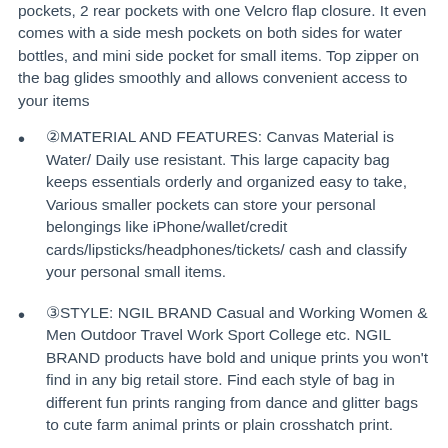pockets, 2 rear pockets with one Velcro flap closure. It even comes with a side mesh pockets on both sides for water bottles, and mini side pocket for small items. Top zipper on the bag glides smoothly and allows convenient access to your items
②MATERIAL AND FEATURES: Canvas Material is Water/ Daily use resistant. This large capacity bag keeps essentials orderly and organized easy to take, Various smaller pockets can store your personal belongings like iPhone/wallet/credit cards/lipsticks/headphones/tickets/ cash and classify your personal small items.
③STYLE: NGIL BRAND Casual and Working Women & Men Outdoor Travel Work Sport College etc. NGIL BRAND products have bold and unique prints you won't find in any big retail store. Find each style of bag in different fun prints ranging from dance and glitter bags to cute farm animal prints or plain crosshatch print.
④PERFECT FOR: travel, daily, school, shopping, airplane, outings, weekend, gym, work, hiking, camping, long travels, and short trip. Perfect for teachers and nurses to carry their supplies for